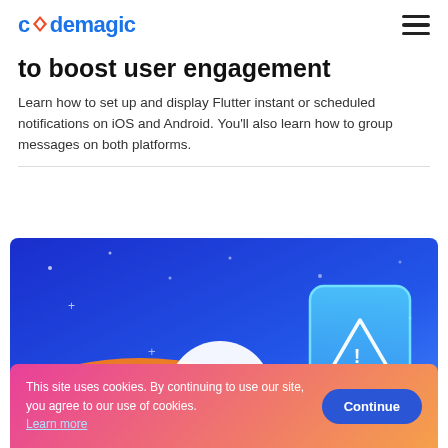codemagic
to boost user engagement
Learn how to set up and display Flutter instant or scheduled notifications on iOS and Android. You'll also learn how to group messages on both platforms.
[Figure (illustration): Hero illustration showing a smartphone with a notification/alert icon on a blue and orange gradient background with decorative stars and a scissors icon]
This site uses cookies. By continuing to use our site, you agree to our use of cookies. Learn more